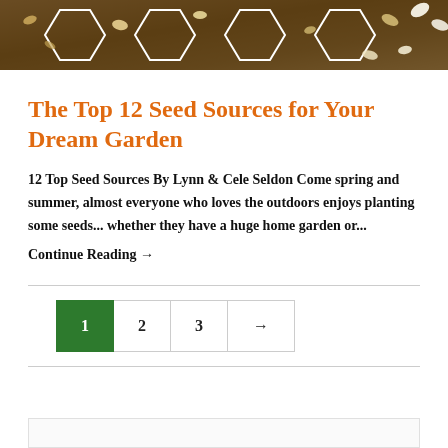[Figure (photo): A banner photo showing various seeds arranged on soil with hexagonal white dividers, displaying different types of seeds including white, golden, and brown varieties.]
The Top 12 Seed Sources for Your Dream Garden
12 Top Seed Sources By Lynn & Cele Seldon Come spring and summer, almost everyone who loves the outdoors enjoys planting some seeds... whether they have a huge home garden or...
Continue Reading →
1  2  3  →